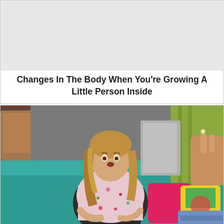[Figure (photo): Placeholder image area (light gray background) for first article card]
Changes In The Body When You're Growing A Little Person Inside
[Figure (photo): Photo of a woman sitting on a teal couch looking surprised, from The Big Bang Theory TV show]
20 Facts That'll Change Your Perception Of "The Big Bang Theory"
Jake Woodruff Funeral and Obituary arrangements has not